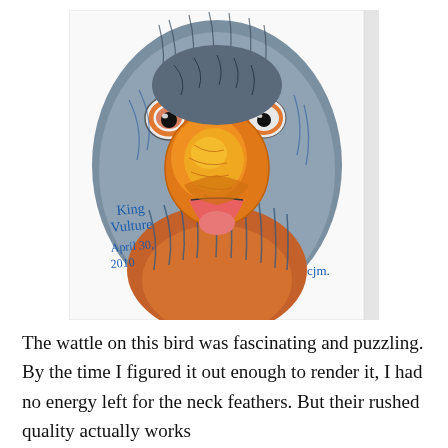[Figure (illustration): A colored pencil / crayon illustration of a King Vulture's face, close-up, showing vivid orange and yellow wattle/beak, blue-grey feathers, white and orange eye with black pupil, pink open mouth/tongue. Handwritten annotation in blue reads 'King Vulture April 30, 2010' on the lower left, and artist initials 'cjm' on the lower right. The drawing is shown on white paper with a light grey vertical strip on the right edge.]
The wattle on this bird was fascinating and puzzling. By the time I figured it out enough to render it, I had no energy left for the neck feathers. But their rushed quality actually works